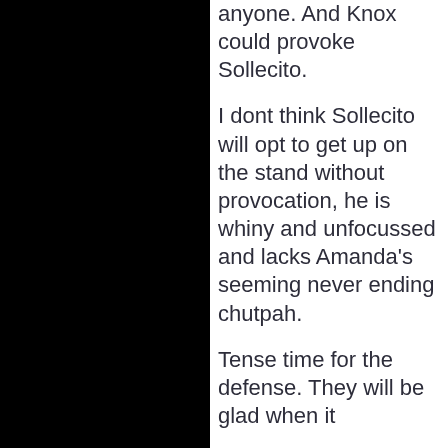anyone. And Knox could provoke Sollecito.
I dont think Sollecito will opt to get up on the stand without provocation, he is whiny and unfocussed and lacks Amanda's seeming never ending chutpah.
Tense time for the defense. They will be glad when it is all...